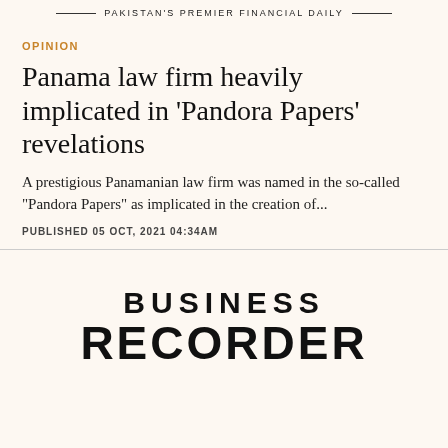PAKISTAN'S PREMIER FINANCIAL DAILY
OPINION
Panama law firm heavily implicated in 'Pandora Papers' revelations
A prestigious Panamanian law firm was named in the so-called "Pandora Papers" as implicated in the creation of...
PUBLISHED 05 OCT, 2021 04:34AM
[Figure (logo): Business Recorder logo — two-line bold uppercase text: BUSINESS on top, RECORDER below in larger font]